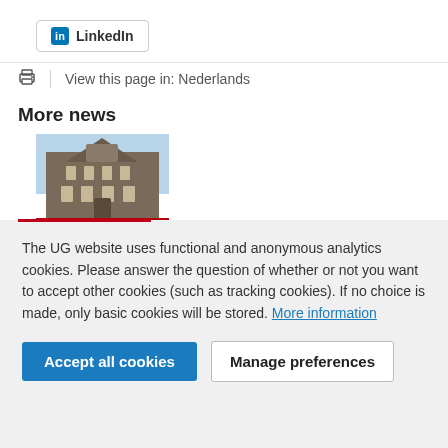[Figure (other): LinkedIn button with blue LinkedIn icon and bold text 'LinkedIn']
View this page in: Nederlands
More news
[Figure (photo): Photo of a historic university building facade against a blue sky, partially cut off at bottom by a red horizontal line]
The UG website uses functional and anonymous analytics cookies. Please answer the question of whether or not you want to accept other cookies (such as tracking cookies). If no choice is made, only basic cookies will be stored. More information
Accept all cookies
Manage preferences